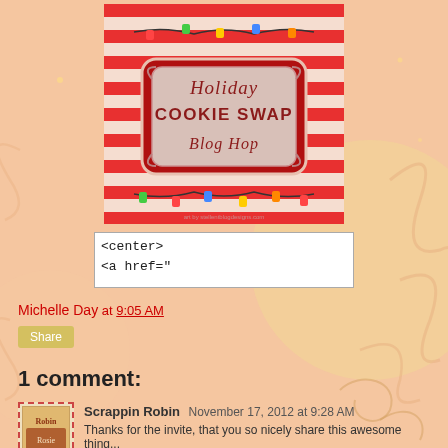[Figure (illustration): Holiday Cookie Swap Blog Hop banner with red and white stripes, Christmas lights, and decorative frame with script text]
<center>
<a href="
Michelle Day at 9:05 AM
Share
1 comment:
Scrappin Robin November 17, 2012 at 9:28 AM
Thanks for the invite, that you so nicely share this awesome thing...